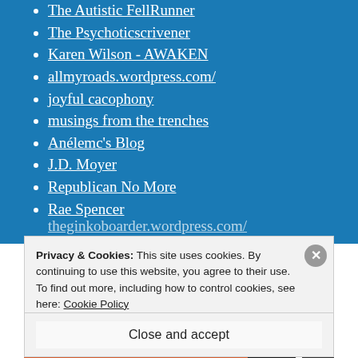The Autistic FellRunner
The Psychoticscrivener
Karen Wilson - AWAKEN
allmyroads.wordpress.com/
joyful cacophony
musings from the trenches
Anélemc's Blog
J.D. Moyer
Republican No More
Rae Spencer
Privacy & Cookies: This site uses cookies. By continuing to use this website, you agree to their use.
To find out more, including how to control cookies, see here: Cookie Policy
Close and accept